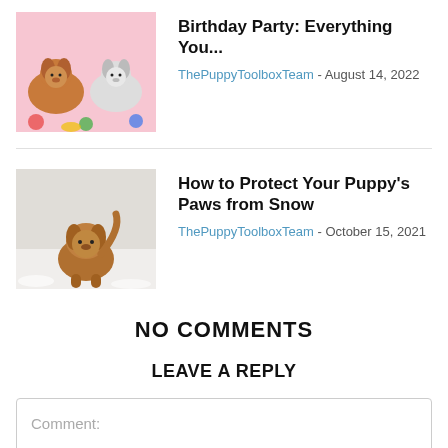[Figure (photo): Two small puppies on a pink background with colorful toys]
Birthday Party: Everything You...
ThePuppyToolboxTeam - August 14, 2022
[Figure (photo): A fluffy brown puppy standing in snow]
How to Protect Your Puppy's Paws from Snow
ThePuppyToolboxTeam - October 15, 2021
NO COMMENTS
LEAVE A REPLY
Comment: